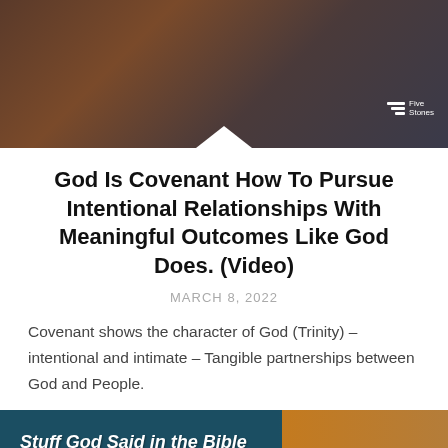[Figure (photo): Top banner image showing a person in a plaid shirt against a wooden background, with a Five Stones logo in the bottom right corner]
God Is Covenant How To Pursue Intentional Relationships With Meaningful Outcomes Like God Does. (Video)
MARCH 8, 2022
Covenant shows the character of God (Trinity) – intentional and intimate – Tangible partnerships between God and People.
[Figure (photo): Bottom banner with dark teal and orange background showing text 'Stuff God Said in the Bible' and 'Stuff I Did in Life' with a person visible on the right side]